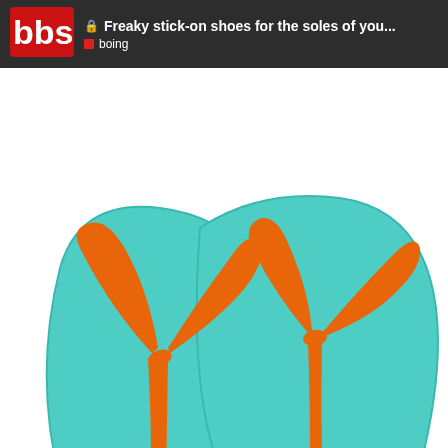🔒 Freaky stick-on shoes for the soles of you... | boing
[Figure (photo): Two teal/turquoise flip-flops with orange straps, viewed from above at an angle on a white background]
6
imaguid   Jun '17
15 / 37
you should watch the kickstarter video for